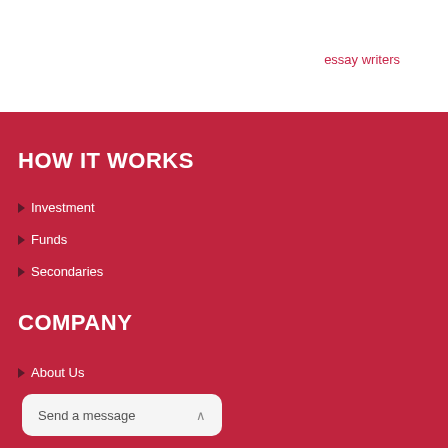essay writers
HOW IT WORKS
Investment
Funds
Secondaries
COMPANY
About Us
Send a message